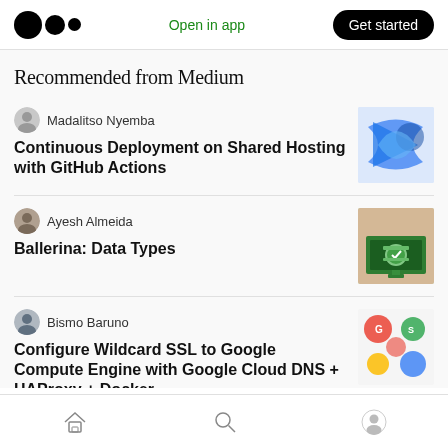Open in app  Get started
Recommended from Medium
Madalitso Nyemba
Continuous Deployment on Shared Hosting with GitHub Actions
[Figure (illustration): Blue arrows icon for GitHub Actions / deployment]
Ayesh Almeida
Ballerina: Data Types
[Figure (illustration): Green computer with folder icon for Ballerina data types]
Bismo Baruno
Configure Wildcard SSL to Google Compute Engine with Google Cloud DNS + HAProxy + Docker
[Figure (illustration): Colorful circular icons for SSL/Google Cloud]
Home  Search  Profile